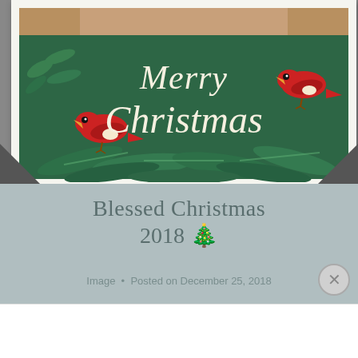[Figure (illustration): A Christmas card image with a dark green background featuring 'Merry Christmas' in decorative script, two red birds, pine branches and leaf decorations. The card has a white border/frame with dark corner folds.]
Blessed Christmas 2018 🎄
Image • Posted on December 25, 2018
Advertisements
P2  Getting your team on the same page is easy. And free.